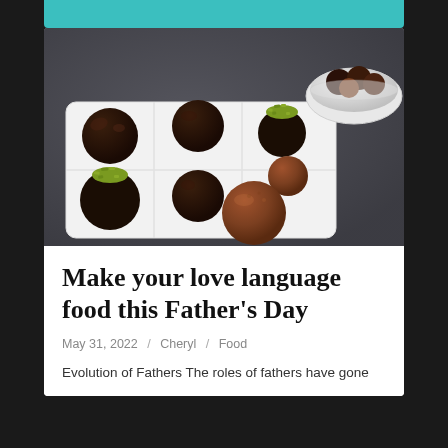[Figure (photo): Photo of assorted chocolate truffles on a white rectangular segmented serving tray. Several truffles are dark chocolate coated, two are topped with green pistachio pieces, and one or two are dusted with cocoa powder. A white bowl of truffles is visible in the background, all on a dark slate surface.]
Make your love language food this Father's Day
May 31, 2022  /  Cheryl  /  Food
Evolution of Fathers The roles of fathers have gone